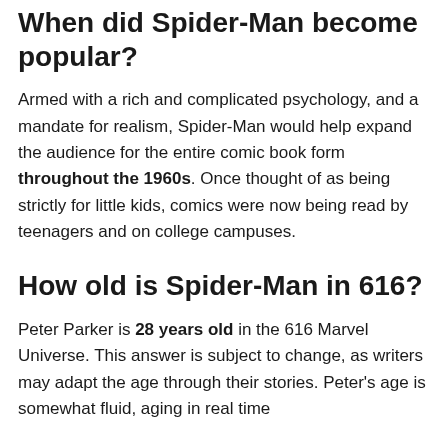When did Spider-Man become popular?
Armed with a rich and complicated psychology, and a mandate for realism, Spider-Man would help expand the audience for the entire comic book form throughout the 1960s. Once thought of as being strictly for little kids, comics were now being read by teenagers and on college campuses.
How old is Spider-Man in 616?
Peter Parker is 28 years old in the 616 Marvel Universe. This answer is subject to change, as writers may adapt the age through their stories. Peter's age is somewhat fluid, aging in real time